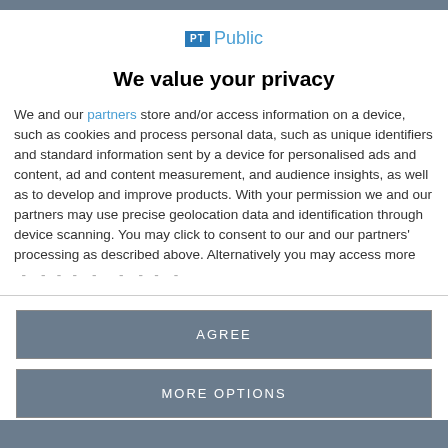[Figure (logo): PT Public logo with blue icon box and teal 'Public' text]
We value your privacy
We and our partners store and/or access information on a device, such as cookies and process personal data, such as unique identifiers and standard information sent by a device for personalised ads and content, ad and content measurement, and audience insights, as well as to develop and improve products. With your permission we and our partners may use precise geolocation data and identification through device scanning. You may click to consent to our and our partners' processing as described above. Alternatively you may access more detailed information...
AGREE
MORE OPTIONS